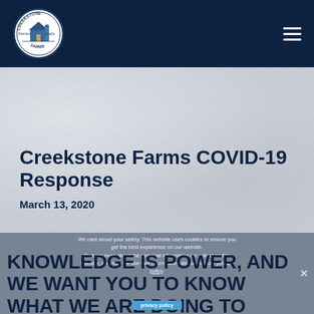[Figure (logo): Creekstone Farms circular logo — white circle with navy border, barn illustration in center, text 'CREEKSTONE FARMS' and 'Premium Quality' around the perimeter]
Creekstone Farms COVID-19 Response
March 13, 2020
We care about your safety. This website uses cookies to ensure you get the best experience on our website. To learn more about the personal information we collect on this website, and how we use that information, please visit our privacy policy.
KNOWLEDGE IS POWER, AND WE WANT YOU TO KNOW WHAT WE ARE DOING TO PROTECT OUR EMPLOYEES, THEIR FAMILIES,